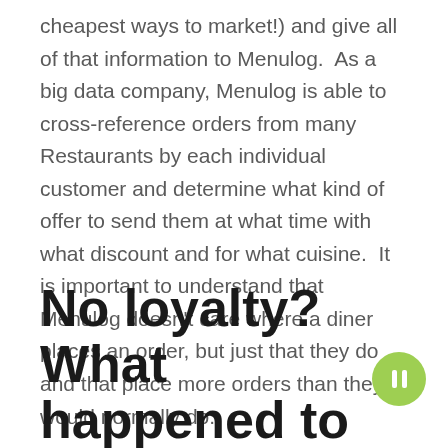cheapest ways to market!) and give all of that information to Menulog.  As a big data company, Menulog is able to cross-reference orders from many Restaurants by each individual customer and determine what kind of offer to send them at what time with what discount and for what cuisine.  It is important to understand that Menulog doesn't care where a diner places an order, but just that they do and that place more orders than they would normally do.
No loyalty? What happened to the Menulog loyalty